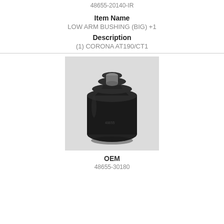48655-20140-IR
Item Name
LOW ARM BUSHING (BIG) +1
Description
(1) CORONA AT190/CT1
[Figure (photo): Photo of a black rubber low arm bushing viewed from the top, showing a cylindrical component with a hollow center.]
OEM
48655-30180